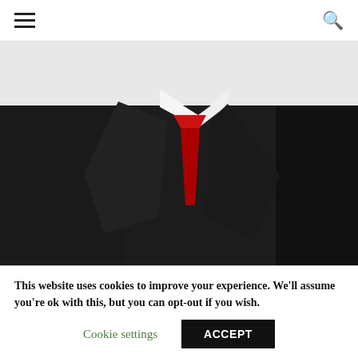☰  🔍
[Figure (photo): A man in a black suit with a red tie holding up a blank white business card toward the camera.]
There are a few ways to obtain free business cards and ultimately it is up to you with regard to
This website uses cookies to improve your experience. We'll assume you're ok with this, but you can opt-out if you wish.
Cookie settings   ACCEPT